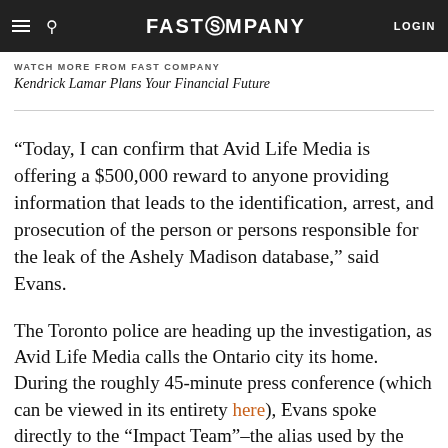Canadian (roughly $280,000 U.S.) for the information.
FAST COMPANY | LOGIN
WATCH MORE FROM FAST COMPANY
Kendrick Lamar Plans Your Financial Future
“Today, I can confirm that Avid Life Media is offering a $500,000 reward to anyone providing information that leads to the identification, arrest, and prosecution of the person or persons responsible for the leak of the Ashely Madison database,” said Evans.
The Toronto police are heading up the investigation, as Avid Life Media calls the Ontario city its home. During the roughly 45-minute press conference (which can be viewed in its entirety here), Evans spoke directly to the “Impact Team”–the alias used by the hackers who leaked the database. Calling this